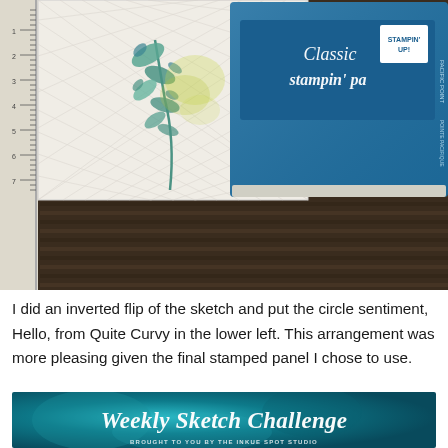[Figure (photo): Craft desk scene showing a white embossed card with botanical stamps (blue-green leaves and yellow foliage), a ruler on the left, and a Stampin' Up Classic Stampin' Pad in Pacific Point teal/blue color, all resting on a dark wood grain surface.]
I did an inverted flip of the sketch and put the circle sentiment, Hello, from Quite Curvy in the lower left. This arrangement was more pleasing given the final stamped panel I chose to use.
[Figure (illustration): Banner image with teal/turquoise textured background showing the text 'Weekly Sketch Challenge' in large white italic script, with 'BROUGHT TO YOU BY THE INKUE SPOT STUDIO' in small white caps below.]